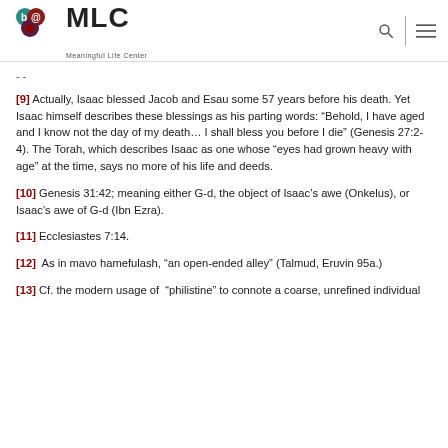MLC Meaningful Life Center
- -
[9] Actually, Isaac blessed Jacob and Esau some 57 years before his death. Yet Isaac himself describes these blessings as his parting words: “Behold, I have aged and I know not the day of my death… I shall bless you before I die” (Genesis 27:2-4). The Torah, which describes Isaac as one whose “eyes had grown heavy with age” at the time, says no more of his life and deeds.
[10] Genesis 31:42; meaning either G-d, the object of Isaac’s awe (Onkelus), or Isaac’s awe of G-d (Ibn Ezra).
[11] Ecclesiastes 7:14.
[12]  As in mavo hamefulash, “an open-ended alley” (Talmud, Eruvin 95a.)
[13] Cf. the modern usage of “philistine” to connote a coarse, unrefined individual